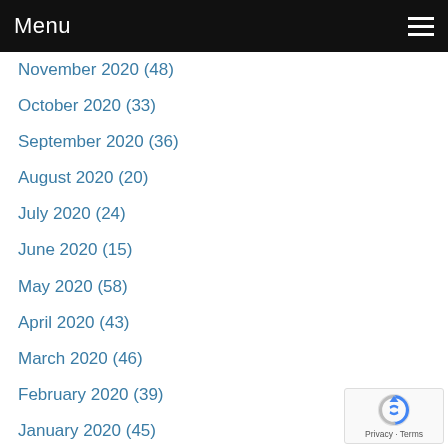Menu
November 2020 (48)
October 2020 (33)
September 2020 (36)
August 2020 (20)
July 2020 (24)
June 2020 (15)
May 2020 (58)
April 2020 (43)
March 2020 (46)
February 2020 (39)
January 2020 (45)
December 2019 (42)
November 2019 (40)
October 2019 (33)